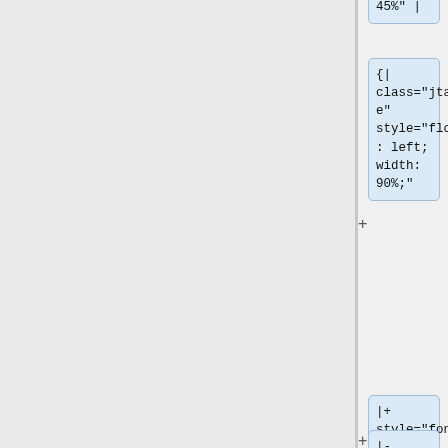45%" |
{|
class="jtable"
style="float: left;
width: 90%;"
|+
style="font-size: 1.4em;
font-weight: bold; text-align:left;
border-bottom: 2px solid #6678b1;" |
News &amp; Updates
|-